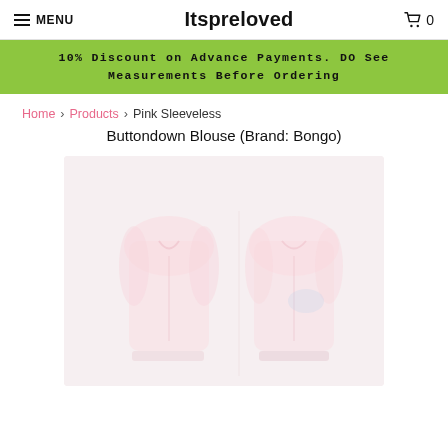MENU   Itspreloved   🛒 0
10% Discount on Advance Payments. DO See Measurements Before Ordering
Home > Products > Pink Sleeveless Buttondown Blouse (Brand: Bongo)
Pink Sleeveless Buttondown Blouse (Brand: Bongo)
[Figure (photo): Blurred product photo of a pink sleeveless button-down blouse (Brand: Bongo), showing multiple angles of the garment on a light background.]